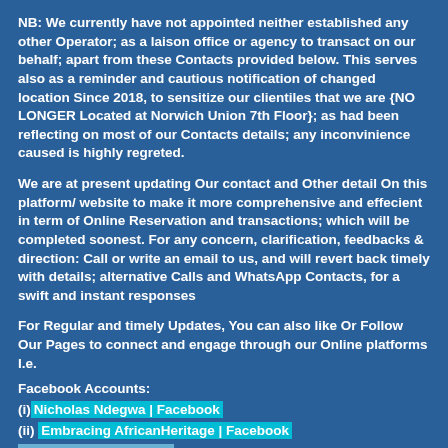NB: We currently have not appointed neither established any other Operator; as a laison office or agency to transact on our behalf; apart from these Contacts provided below. This serves also as a reminder and cautious notification of changed location Since 2018, to sensitize our clientiles that we are {NO LONGER Located at Norwich Union 7th Floor}; as had been reflecting on most of our Contacts details; any inconvinience caused is highly regreted.
We are at present updating Our contact and Other detail On this platform/ website to make it more comprehensive and effecient in term of Online Reservation and transactions; which will be completed soonest. For any concern, clarification, feedbacks & direction: Call or write an email to us, and will revert back timely with details; alternative Calls and WhatsApp Contacts, for a swift and instant responses
For Regular and timely Updates, You can also like Or Follow Our Pages to connect and engage through our Online platforms I.e.
Facebook Accounts:
(i) Nicholas Ndegwa | Facebook
(ii) Embracing AfricanHeritage | Facebook
Facebook Pages Links
Either @embracingafricanheritage (Embracing African Heritage - Destinations)
OR @Embracingafricanheritageupdates (Embracing African